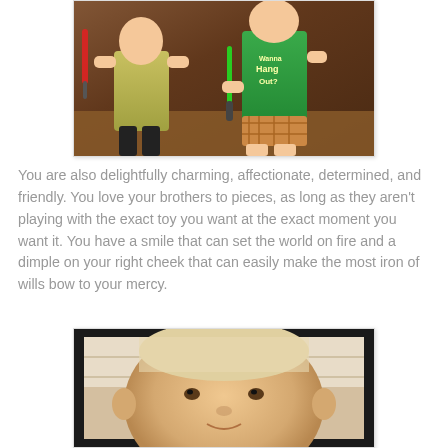[Figure (photo): Two children playing with lightsabers. One child in a yellow shirt, another in a green 'Wanna Hang Out?' shirt with plaid shorts. Wood floor and furniture visible in background.]
You are also delightfully charming, affectionate, determined, and friendly.  You love your brothers to pieces, as long as they aren't playing with the exact toy you want at the exact moment you want it.  You have a smile that can set the world on fire and a dimple on your right cheek that can easily make the most iron of wills bow to your mercy.
[Figure (photo): Close-up photo of a young baby/toddler's face looking directly at the camera, with a black border frame.]